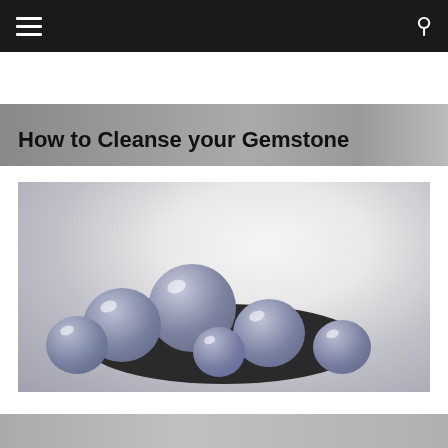navigation bar with hamburger menu and search icon
[Figure (photo): Partial top image strip showing cropped photo content]
How to Cleanse your Gemstone
[Figure (photo): Blue-grey polished gemstone spheres piled in a dark bowl against a light background]
[Figure (photo): Partial bottom image strip, cropped at page edge]